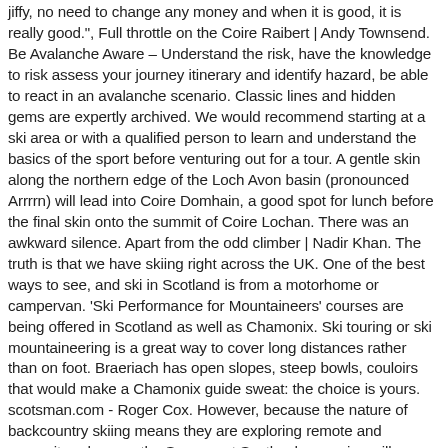jiffy, no need to change any money and when it is good, it is really good.", Full throttle on the Coire Raibert | Andy Townsend. Be Avalanche Aware – Understand the risk, have the knowledge to risk assess your journey itinerary and identify hazard, be able to react in an avalanche scenario. Classic lines and hidden gems are expertly archived. We would recommend starting at a ski area or with a qualified person to learn and understand the basics of the sport before venturing out for a tour. A gentle skin along the northern edge of the Loch Avon basin (pronounced Arrrrn) will lead into Coire Domhain, a good spot for lunch before the final skin onto the summit of Coire Lochan. There was an awkward silence. Apart from the odd climber | Nadir Khan. The truth is that we have skiing right across the UK. One of the best ways to see, and ski in Scotland is from a motorhome or campervan. 'Ski Performance for Mountaineers' courses are being offered in Scotland as well as Chamonix. Ski touring or ski mountaineering is a great way to cover long distances rather than on foot. Braeriach has open slopes, steep bowls, couloirs that would make a Chamonix guide sweat: the choice is yours. scotsman.com - Roger Cox. However, because the nature of backcountry skiing means they are exploring remote and unmonitored areas, the Snowsport Scotland campaign will emphasise the need for training ... Ski Resorts in Scotland Glenshee Ski Centre Located in the Cairngorms National Park, Glenshee Ski Centre is the largest ski resort in Britain. Descend first south then south west into Coire Raibert. 0. In decades gone by seal skin / fur was used and influenced the